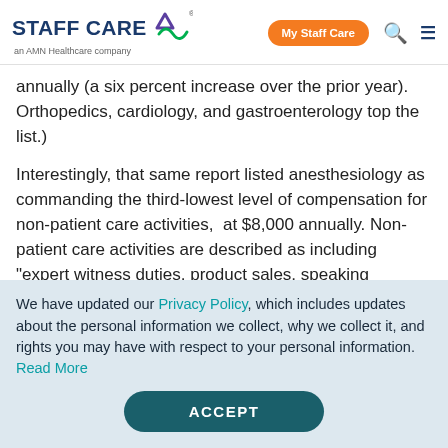STAFF CARE — an AMN Healthcare company | My Staff Care | [search] [menu]
annually (a six percent increase over the prior year). Orthopedics, cardiology, and gastroenterology top the list.)
Interestingly, that same report listed anesthesiology as commanding the third-lowest level of compensation for non-patient care activities, at $8,000 annually. Non-patient care activities are described as including "expert witness duties, product sales, speaking...
We have updated our Privacy Policy, which includes updates about the personal information we collect, why we collect it, and rights you may have with respect to your personal information. Read More
ACCEPT